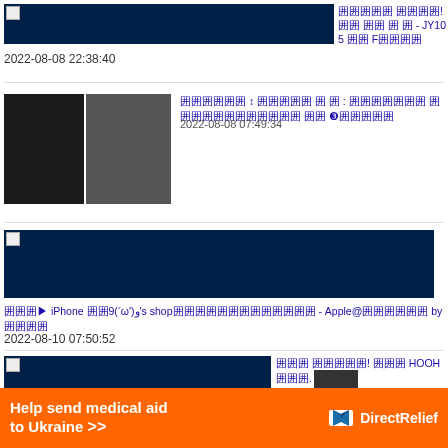[Figure (screenshot): Dark navy banner image with small broken image icon at top-left]
囲囲囲囲囲 囲囲囲囲! 囲囲 囲囲 囲 囲 - JY105 囲囲 F囲囲囲囲
2022-08-08 22:38:40
[Figure (photo): Two photos of black dress/clothing items side by side]
囲囲囲囲囲囲 ↕ 囲囲囲囲囲 囲 囲 : 囲囲囲囲囲囲囲 囲囲囲囲囲囲囲囲囲囲囲囲 囲囲 ❸囲囲囲囲囲
2022-08-08 07:49:34
[Figure (screenshot): Wide dark navy banner image]
囲囲囲▶ iPhone 囲囲9(ʻω')و's shop囲囲囲囲囲囲囲囲囲囲囲囲囲 - Apple@囲囲囲囲囲囲 by 囲囲囲囲
2022-08-10 07:50:52
[Figure (screenshot): Dark navy banner image partial]
囲囲囲 囲囲囲囲囲! 囲囲囲 HOOH 囲囲囲. 囲囲囲囲囲
囲 囲囲囲囲囲囲囲
[Figure (infographic): Orange advertisement banner: Help send medical aid to Ukraine >> DirectRelief logo]